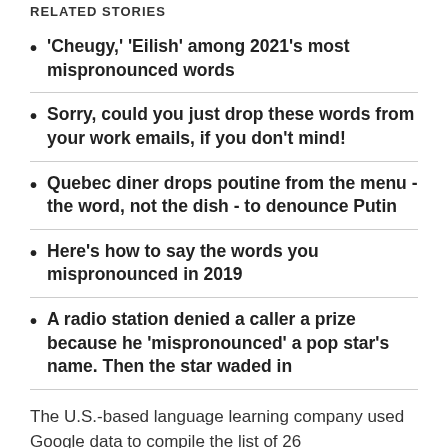RELATED STORIES
'Cheugy,' 'Eilish' among 2021's most mispronounced words
Sorry, could you just drop these words from your work emails, if you don't mind!
Quebec diner drops poutine from the menu - the word, not the dish - to denounce Putin
Here's how to say the words you mispronounced in 2019
A radio station denied a caller a prize because he 'mispronounced' a pop star's name. Then the star waded in
The U.S.-based language learning company used Google data to compile the list of 26